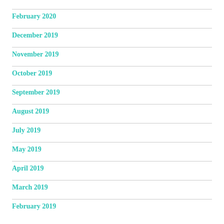February 2020
December 2019
November 2019
October 2019
September 2019
August 2019
July 2019
May 2019
April 2019
March 2019
February 2019